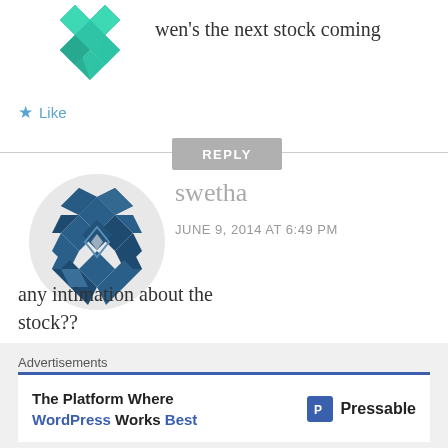[Figure (logo): Green geometric snowflake/diamond pattern avatar in top left]
wen's the next stock coming
Like
REPLY
[Figure (logo): Dark blue geometric diamond/quilt pattern avatar for user swetha]
swetha
JUNE 9, 2014 AT 6:49 PM
any intimation about the stock??
Advertisements
The Platform Where WordPress Works Best Pressable